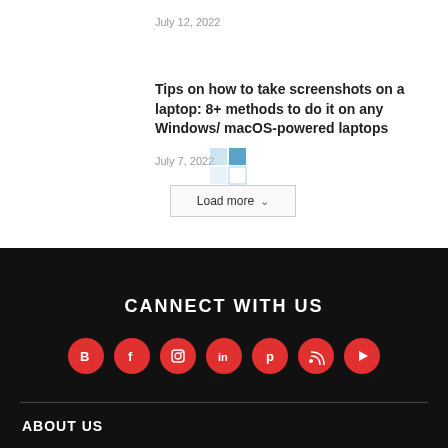July 12, 2022
Tips on how to take screenshots on a laptop: 8+ methods to do it on any Windows/ macOS-powered laptops
July 7, 2022
[Figure (screenshot): Windows logo tile graphic in blue shades]
Load more
CANNECT WITH US
[Figure (infographic): Social media icons: Blogger, Facebook, Instagram, LinkedIn, Pinterest, RSS, YouTube — all red circles with white icons]
ABOUT US